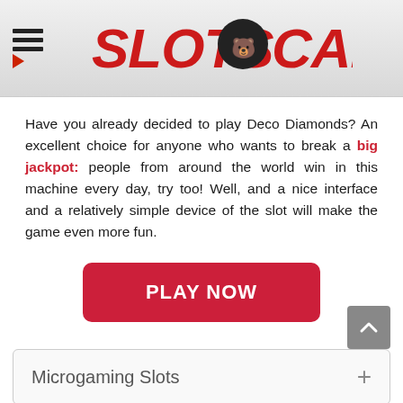SLOTS CANADA
Have you already decided to play Deco Diamonds? An excellent choice for anyone who wants to break a big jackpot: people from around the world win in this machine every day, try too! Well, and a nice interface and a relatively simple device of the slot will make the game even more fun.
[Figure (other): Red PLAY NOW button]
Microgaming Slots
Footer icons: 18+, SSL, gamble aware, eCOGRA logos